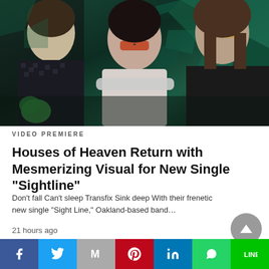[Figure (photo): Three band members of Houses of Heaven posed against a dark geometric teal background. Left: man with dark hair in patterned shirt. Center: woman with dark hair wearing orange sunglasses, arms crossed, white top. Right: man with long hair and beard wearing dark shirt.]
VIDEO PREMIERE
Houses of Heaven Return with Mesmerizing Visual for New Single “Sightline”
Don't fall Can't sleep Transfix Sink deep With their frenetic new single "Sight Line," Oakland-based band…
21 hours ago